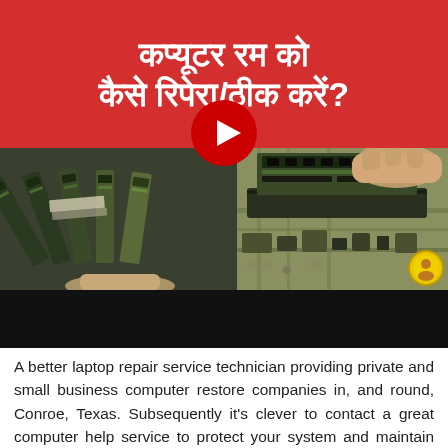[Figure (screenshot): YouTube video thumbnail with red banner showing Hindi text about computer RAM repair, two RAM module images below, and a YouTube play button overlay]
A better laptop repair service technician providing private and small business computer restore companies in, and round, Conroe, Texas. Subsequently it's clever to contact a great computer help service to protect your system and maintain internet safety as nicely. System crashes are severe and alarming events that may leave your computer incapacitated. Some on-line computer repair companies will attempt to